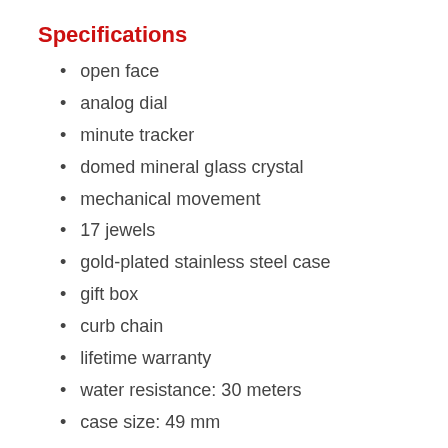Specifications
open face
analog dial
minute tracker
domed mineral glass crystal
mechanical movement
17 jewels
gold-plated stainless steel case
gift box
curb chain
lifetime warranty
water resistance: 30 meters
case size: 49 mm